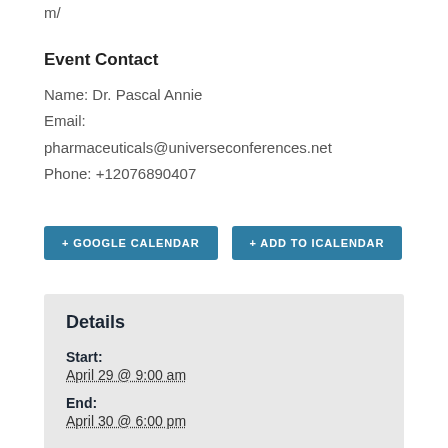m/
Event Contact
Name: Dr. Pascal Annie
Email:
pharmaceuticals@universeconferences.net
Phone: +12076890407
+ GOOGLE CALENDAR
+ ADD TO ICALENDAR
Details
Start:
April 29 @ 9:00 am
End:
April 30 @ 6:00 pm